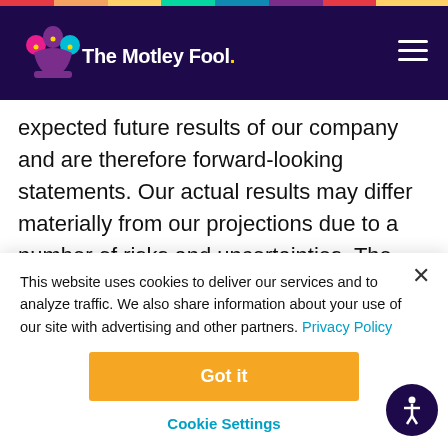The Motley Fool
expected future results of our company and are therefore forward-looking statements. Our actual results may differ materially from our projections due to a number of risks and uncertainties. The risks and uncertainties that forward-looking statements are subject to are described in our
This website uses cookies to deliver our services and to analyze traffic. We also share information about your use of our site with advertising and other partners. Privacy Policy
Got it
Cookie Settings